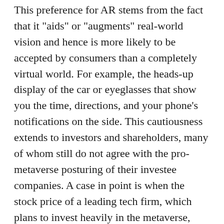This preference for AR stems from the fact that it "aids" or "augments" real-world vision and hence is more likely to be accepted by consumers than a completely virtual world. For example, the heads-up display of the car or eyeglasses that show you the time, directions, and your phone's notifications on the side. This cautiousness extends to investors and shareholders, many of whom still do not agree with the pro-metaverse posturing of their investee companies. A case in point is when the stock price of a leading tech firm, which plans to invest heavily in the metaverse, took a nosedive after its quarterly earnings call earlier this year.
This begs the question, Are we ready for the idea of the metaverse? In today's world, where trust and transparency are imperative, organisations must first create trust among